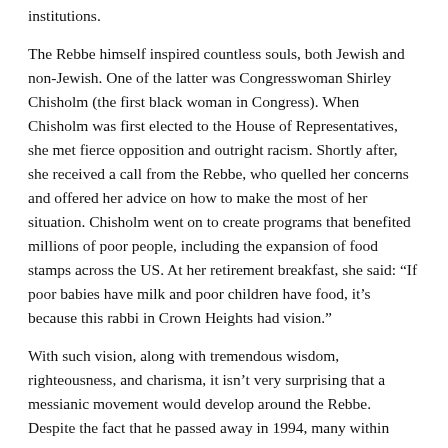institutions.
The Rebbe himself inspired countless souls, both Jewish and non-Jewish. One of the latter was Congresswoman Shirley Chisholm (the first black woman in Congress). When Chisholm was first elected to the House of Representatives, she met fierce opposition and outright racism. Shortly after, she received a call from the Rebbe, who quelled her concerns and offered her advice on how to make the most of her situation. Chisholm went on to create programs that benefited millions of poor people, including the expansion of food stamps across the US. At her retirement breakfast, she said: “If poor babies have milk and poor children have food, it’s because this rabbi in Crown Heights had vision.”
With such vision, along with tremendous wisdom, righteousness, and charisma, it isn’t very surprising that a messianic movement would develop around the Rebbe. Despite the fact that he passed away in 1994, many within